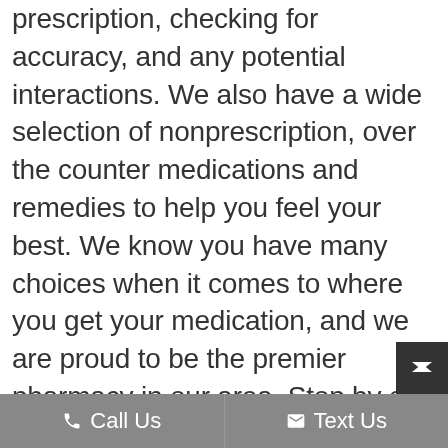prescription, checking for accuracy, and any potential interactions. We also have a wide selection of nonprescription, over the counter medications and remedies to help you feel your best. We know you have many choices when it comes to where you get your medication, and we are proud to be the premier pharmacy in our area. Stop by or call us at (201) 943-2401 if you have questions about your medications.
Call Us   Text Us